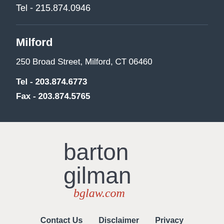Tel - 215.874.0946
Milford
250 Broad Street, Milford, CT 06460
Tel - 203.874.6773
Fax - 203.874.5765
[Figure (logo): Barton Gilman bglaw.com logo]
Contact Us   Disclaimer   Privacy
© 2022 Barton Gilman LLP. All rights reserved.
Site designed and managed by First Wave Marketing